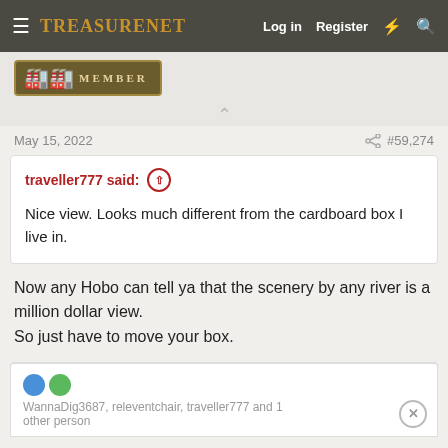TreasureNet | Log in | Register
[Figure (other): Member badge banner with gold coins icon and 'MEMBER' text on dark background]
May 15, 2022   #59,274
traveller777 said: ↑
Nice view. Looks much different from the cardboard box I live in.
Now any Hobo can tell ya that the scenery by any river is a million dollar view.
So just have to move your box.
WannaDig3687, releventchair, traveller777 and 1 other person